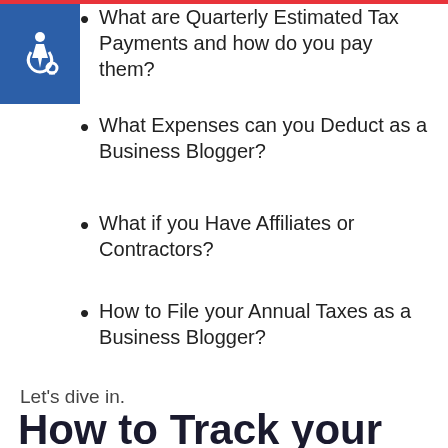What are Quarterly Estimated Tax Payments and how do you pay them?
[Figure (illustration): Blue square accessibility icon showing a person in a wheelchair (universal accessibility symbol) in white on blue background]
What Expenses can you Deduct as a Business Blogger?
What if you Have Affiliates or Contractors?
How to File your Annual Taxes as a Business Blogger?
Let's dive in.
How to Track your Income and Expenses